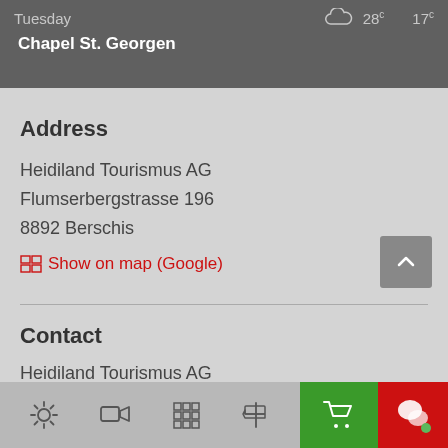Tuesday  28° 17°  Chapel St. Georgen
Address
Heidiland Tourismus AG
Flumserbergstrasse 196
8892 Berschis
Show on map (Google)
Contact
Heidiland Tourismus AG